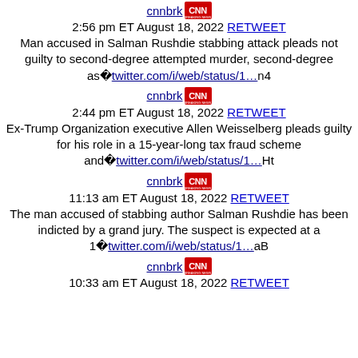cnnbrk [CNN logo] 2:56 pm ET August 18, 2022 RETWEET Man accused in Salman Rushdie stabbing attack pleads not guilty to second-degree attempted murder, second-degree as twitter.com/i/web/status/1…n4
cnnbrk [CNN logo] 2:44 pm ET August 18, 2022 RETWEET Ex-Trump Organization executive Allen Weisselberg pleads guilty for his role in a 15-year-long tax fraud scheme and twitter.com/i/web/status/1…Ht
cnnbrk [CNN logo] 11:13 am ET August 18, 2022 RETWEET The man accused of stabbing author Salman Rushdie has been indicted by a grand jury. The suspect is expected at a 1 twitter.com/i/web/status/1…aB
cnnbrk [CNN logo] 10:33 am ET August 18, 2022 RETWEET